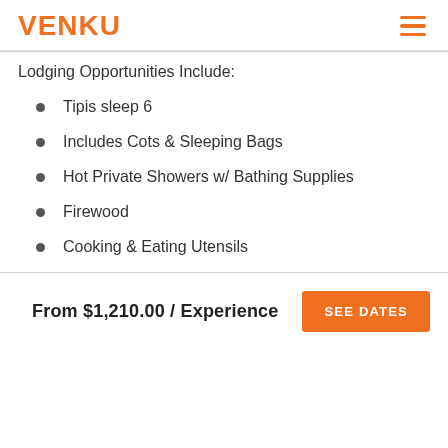VENKU
Lodging Opportunities Include:
Tipis sleep 6
Includes Cots & Sleeping Bags
Hot Private Showers w/ Bathing Supplies
Firewood
Cooking & Eating Utensils
From $1,210.00 / Experience  SEE DATES